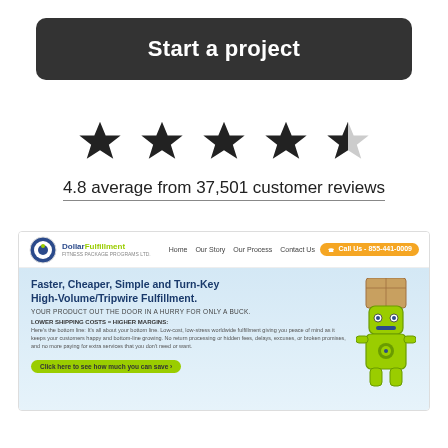Start a project
[Figure (infographic): Five stars rating display: four full black stars and one half-filled star]
4.8 average from 37,501 customer reviews
[Figure (screenshot): Screenshot of DollarFulfillment website showing navbar with logo, Home, Our Story, Our Process, Contact Us links, and a Call Us button. Hero section reads: Faster, Cheaper, Simple and Turn-Key High-Volume/Tripwire Fulfillment. YOUR PRODUCT OUT THE DOOR IN A HURRY FOR ONLY A BUCK. LOWER SHIPPING COSTS = HIGHER MARGINS: Here's the bottom line: It's all about your bottom line. Low-cost, low-stress worldwide fulfillment giving you peace of mind as it keeps your customers happy and bottom-line growing. No return processing or hidden fees, delays, excuses, or broken promises, and no more paying for extra services that you don't need or want. CTA button: Click here to see how much you can save. Robot mascot holding a box on the right.]